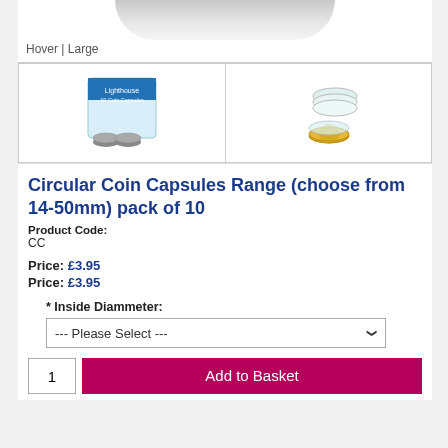[Figure (photo): Top portion of product image showing coin capsule packaging (cropped), with label 'Hover | Large' at bottom]
[Figure (photo): Thumbnail 1: Coin capsule box packaging with coins in front, blue and white packaging]
[Figure (photo): Thumbnail 2: Clear stacked coin capsules with a gold/silver coin visible]
Circular Coin Capsules Range (choose from 14-50mm) pack of 10
Product Code:
CC
Price: £3.95
Price: £3.95
* Inside Diammeter:
--- Please Select ---
1
Add to Basket